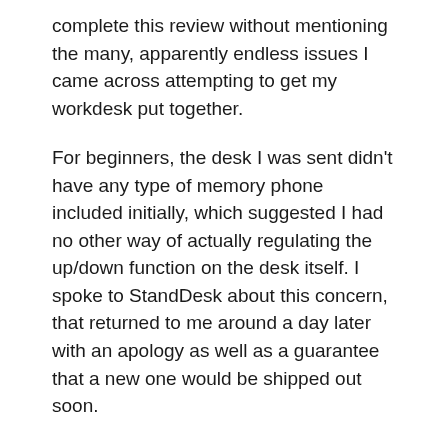complete this review without mentioning the many, apparently endless issues I came across attempting to get my workdesk put together.
For beginners, the desk I was sent didn’t have any type of memory phone included initially, which suggested I had no other way of actually regulating the up/down function on the desk itself. I spoke to StandDesk about this concern, that returned to me around a day later with an apology as well as a guarantee that a new one would be shipped out soon.
Standdesk testimonial handset